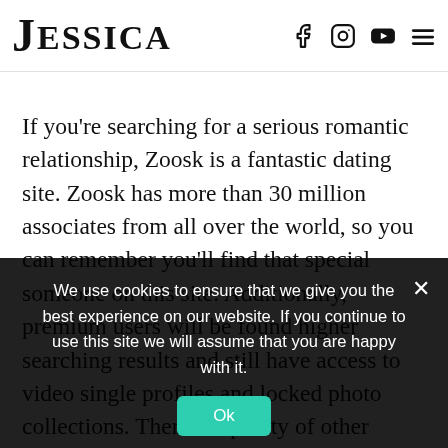JESSICA [navigation bar with logo and social icons: Facebook, Instagram, YouTube, Menu]
countries, this site is an excellent location to make someone special.
If you're searching for a serious romantic relationship, Zoosk is a fantastic dating site. Zoosk has more than 30 million associates from all over the world, so you can remember you'll find that special someone on this site. Additionally, premium users will be found higher searching results and still have access to video single profiles and locked photo collections. There are plenty of other benefits of being a superior member. When you are considering overseas dating, ensure you check out these
We use cookies to ensure that we give you the best experience on our website. If you continue to use this site we will assume that you are happy with it.
Ok